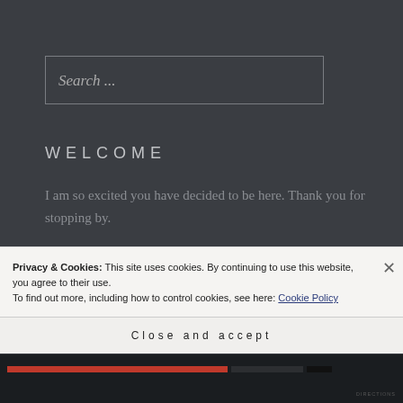Search ...
WELCOME
I am so excited you have decided to be here. Thank you for stopping by.
With confidence in God Almighty, I am
Privacy & Cookies: This site uses cookies. By continuing to use this website, you agree to their use.
To find out more, including how to control cookies, see here: Cookie Policy
Close and accept
DIRECTIONS